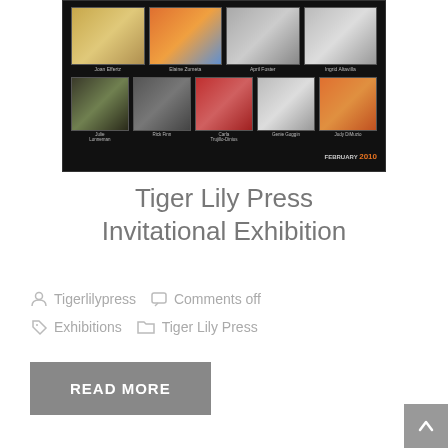[Figure (photo): Exhibition poster showing multiple artist artworks arranged in a grid on dark background, labeled 'FEBRUARY 2010' with artist names: Joan Effertz, Elaine Zumeta, April Foster, Ingrid Altavilla, Julie Lonneman, Rick Finn, Carla Trujillo-Dinius, Genie Goggin, Judy DiMuzio]
Tiger Lily Press Invitational Exhibition
Tigerlilypress   Comments off
Exhibitions   Tiger Lily Press
READ MORE